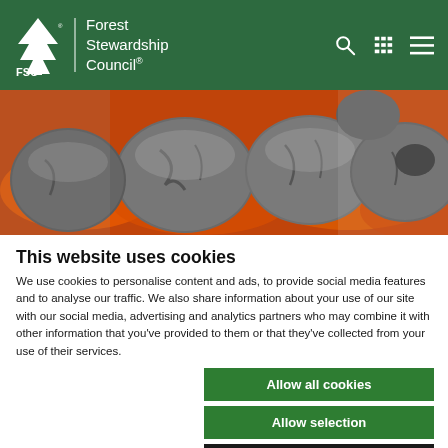Forest Stewardship Council®
[Figure (photo): Close-up photo of glowing charcoal briquettes with orange embers]
This website uses cookies
We use cookies to personalise content and ads, to provide social media features and to analyse our traffic. We also share information about your use of our site with our social media, advertising and analytics partners who may combine it with other information that you've provided to them or that they've collected from your use of their services.
Allow all cookies
Allow selection
Use necessary cookies only
Necessary  Preferences  Statistics  Marketing  Show details